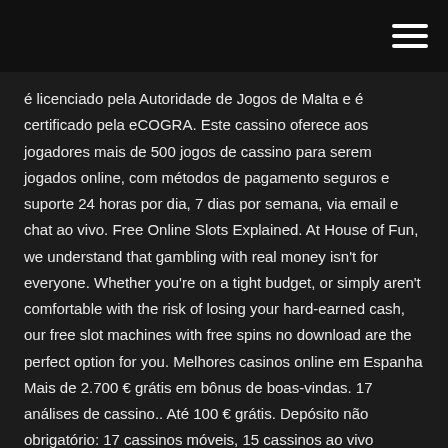é licenciado pela Autoridade de Jogos de Malta e é certificado pela eCOGRA. Este cassino oferece aos jogadores mais de 500 jogos de cassino para serem jogados online, com métodos de pagamento seguros e suporte 24 horas por dia, 7 dias por semana, via email e chat ao vivo. Free Online Slots Explained. At House of Fun, we understand that gambling with real money isn't for everyone. Whether you're on a tight budget, or simply aren't comfortable with the risk of losing your hard-earned cash, our free slot machines with free spins no download are the perfect option for you. Melhores casinos online em Espanha Mais de 2.700 € grátis em bônus de boas-vindas. 17 análises de cassino.. Até 100 € grátis. Depósito não obrigatório: 17 cassinos móveis, 15 cassinos ao vivo